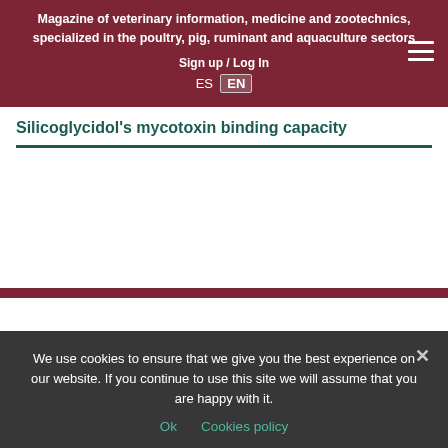Magazine of veterinary information, medicine and zootechnics, specialized in the poultry, pig, ruminant and aquaculture sectors
Sign up / Log In
ES  EN
Silicoglycidol's mycotoxin binding capacity
We use cookies to ensure that we give you the best experience on our website. If you continue to use this site we will assume that you are happy with it.
Ok   Cookies policy